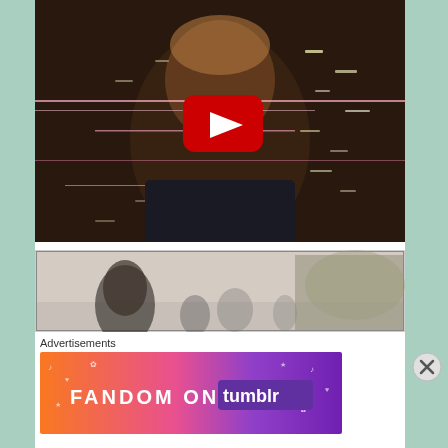[Figure (screenshot): YouTube video thumbnail showing a person's face with a glitchy VHS aesthetic, multiple light streaks across the image. The YouTube play button (red rectangle with white triangle) is centered on the image.]
[Figure (photo): Black and white photo showing a person with long dark hair among a crowd of people.]
Advertisements
[Figure (illustration): Fandom on Tumblr advertisement banner with colorful gradient background (orange to purple) with the text 'FANDOM ON tumblr' and decorative music and heart icons.]